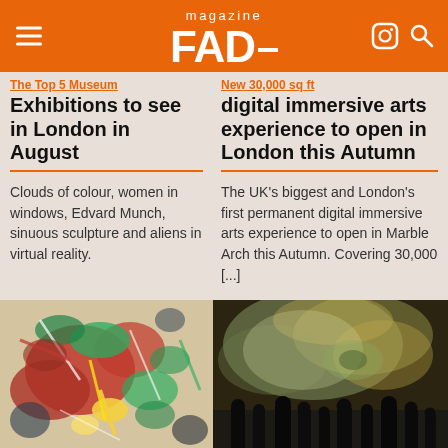FAD magazine
The Top 5 Museum Exhibitions to see in London in August
Clouds of colour, women in windows, Edvard Munch, sinuous sculpture and aliens in virtual reality.
New 30,000 sq ft digital immersive arts experience to open in London this Autumn
The UK's biggest and London's first permanent digital immersive arts experience to open in Marble Arch this Autumn. Covering 30,000 [...]
[Figure (photo): Abstract expressionist painting with splashes of red, green, yellow and other colors]
[Figure (photo): Digital immersive art projection showing large-scale artwork on walls with silhouetted visitors below]